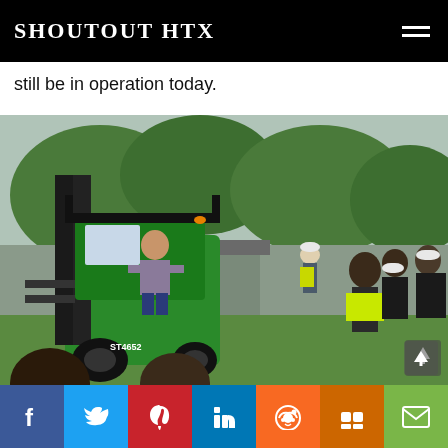SHOUTOUT HTX
still be in operation today.
[Figure (photo): A man sitting on a green forklift (labeled ST4652) demonstrating it to a group of young people wearing hard hats and high-visibility vests, outdoors near a building with trees in the background.]
Social sharing bar with icons: Facebook, Twitter, Pinterest, LinkedIn, Reddit, Mix, Email